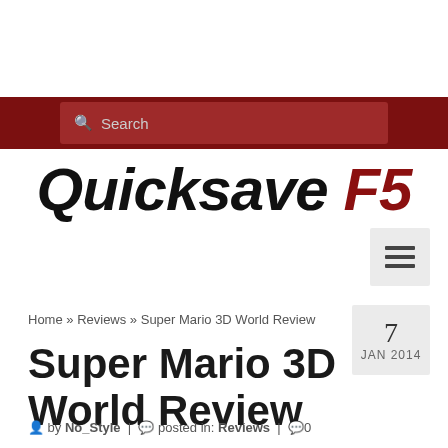Search
Quicksave F5
[Figure (other): Hamburger menu icon button with three horizontal lines]
Home » Reviews » Super Mario 3D World Review
7 JAN 2014
Super Mario 3D World Review
by No_Style | posted in: Reviews | 0